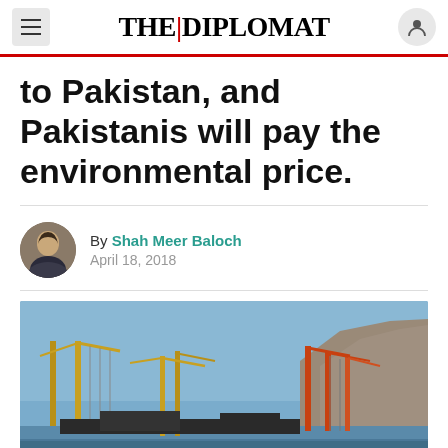THE DIPLOMAT
to Pakistan, and Pakistanis will pay the environmental price.
By Shah Meer Baloch
April 18, 2018
[Figure (photo): Port cranes at a harbor with rocky cliffs in the background, likely Gwadar Port in Pakistan. Yellow and orange industrial cranes visible against a blue sky.]